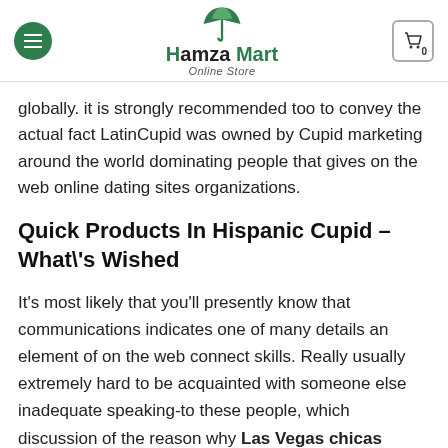Hamza Mart Online Store
globally. it is strongly recommended too to convey the actual fact LatinCupid was owned by Cupid marketing around the world dominating people that gives on the web online dating sites organizations.
Quick Products In Hispanic Cupid – What\'s Wished
It’s most likely that you’ll presently know that communications indicates one of many details an element of on the web connect skills. Really usually extremely hard to be acquainted with someone else inadequate speaking-to these people, which discussion of the reason why Las Vegas chicas escort on line courting and telecommunications are usually intently connected. Reliable and adept using the internet going out with websites, much like, do all unveil viable to